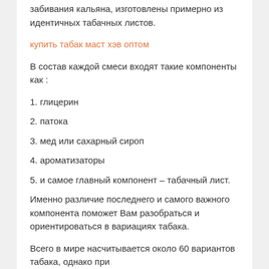забивания кальяна, изготовлены примерно из идентичных табачных листов.
купить табак маст хэв оптом
В состав каждой смеси входят такие компоненты как :
1. глицерин
2. патока
3. мед или сахарный сироп
4. ароматизаторы
5. и самое главный компонент – табачный лист.
Именно различие последнего и самого важного компонента поможет Вам разобраться и ориентироваться в вариациях табака.
Всего в мире насчитывается около 60 вариантов табака, однако при